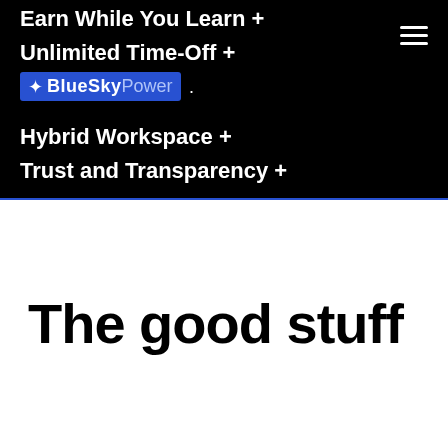Earn While You Learn +
Unlimited Time-Off +
Hybrid Workspace +
Trust and Transparency +
[Figure (logo): BlueSky Power logo: blue rectangle with white star and text 'BlueSkyPower']
The good stuff